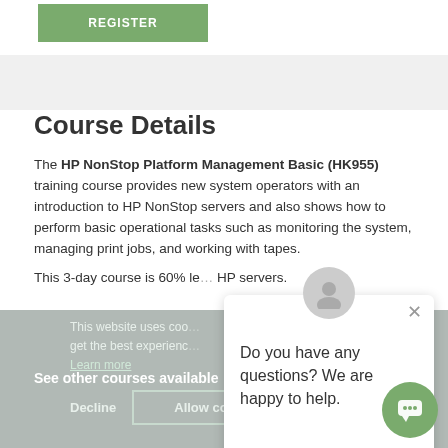[Figure (other): Green REGISTER button at top of page]
Course Details
The HP NonStop Platform Management Basic (HK955) training course provides new system operators with an introduction to HP NonStop servers and also shows how to perform basic operational tasks such as monitoring the system, managing print jobs, and working with tapes.
This 3-day course is 60% le... HP servers.
This website uses coo... get the best experienc...
Learn more
See other courses available
Decline
Allow cookies
Do you have any questions? We are happy to help.